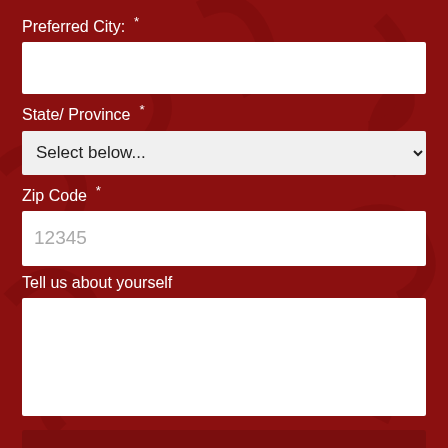Preferred City: *
State/ Province *
Select below...
Zip Code *
12345
Tell us about yourself
DOWNLOAD NOW